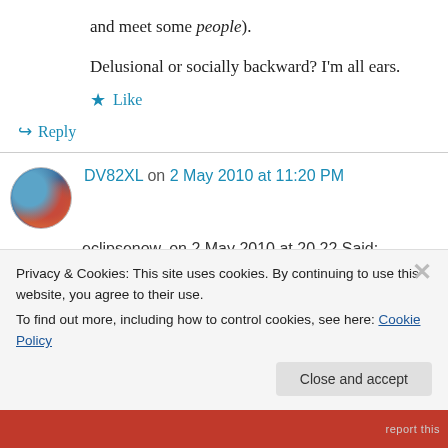and meet some people).
Delusional or socially backward? I'm all ears.
★ Like
↪ Reply
DV82XL on 2 May 2010 at 11:20 PM
eclipsenow, on 2 May 2010 at 20.22 Said:
“does one have to be professionally educated to
Privacy & Cookies: This site uses cookies. By continuing to use this website, you agree to their use. To find out more, including how to control cookies, see here: Cookie Policy
Close and accept